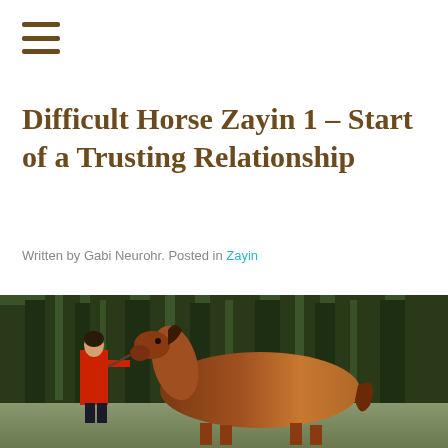[Figure (other): Hamburger/menu icon with three horizontal brown bars]
Difficult Horse Zayin 1 – Start of a Trusting Relationship
Written by Gabi Neurohr. Posted in Zayin
[Figure (photo): A woman in a red jacket leading a chestnut horse in an outdoor setting with trees in the background]